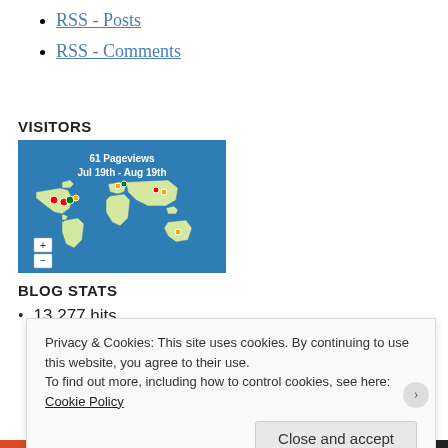RSS - Posts
RSS - Comments
VISITORS
[Figure (map): World map showing visitor pageviews: 61 Pageviews, Jul 19th - Aug 19th. Blue background world map with colored pins in North America, Europe, and Asia/Australia regions.]
BLOG STATS
13,277 hits
Privacy & Cookies: This site uses cookies. By continuing to use this website, you agree to their use.
To find out more, including how to control cookies, see here: Cookie Policy
Close and accept